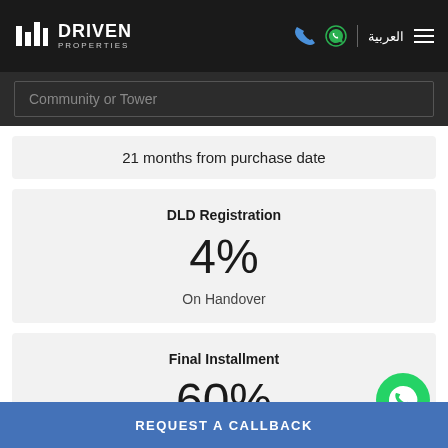[Figure (logo): Driven Properties logo with bar chart icon on dark header]
Community or Tower
21 months from purchase date
DLD Registration
4%
On Handover
Final Installment
60%
REQUEST A CALLBACK